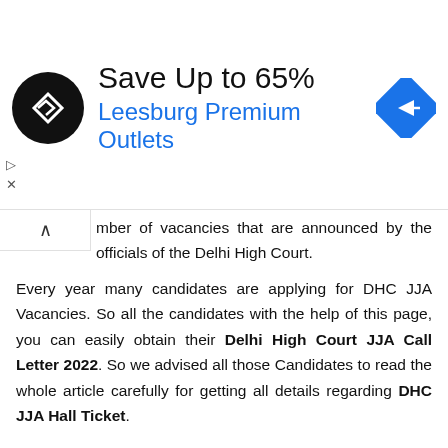[Figure (infographic): Advertisement banner: Save Up to 65% Leesburg Premium Outlets with logo and navigation icon]
mber of vacancies that are announced by the officials of the Delhi High Court.
Every year many candidates are applying for DHC JJA Vacancies. So all the candidates with the help of this page, you can easily obtain their Delhi High Court JJA Call Letter 2022. So we advised all those Candidates to read the whole article carefully for getting all details regarding DHC JJA Hall Ticket.
Delhi High Court JJA Hall Ticket 2022:-